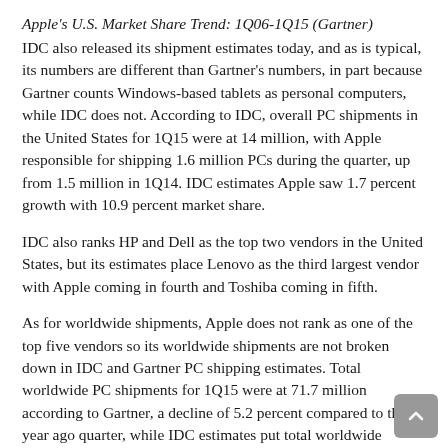Apple's U.S. Market Share Trend: 1Q06-1Q15 (Gartner)
IDC also released its shipment estimates today, and as is typical, its numbers are different than Gartner's numbers, in part because Gartner counts Windows-based tablets as personal computers, while IDC does not. According to IDC, overall PC shipments in the United States for 1Q15 were at 14 million, with Apple responsible for shipping 1.6 million PCs during the quarter, up from 1.5 million in 1Q14. IDC estimates Apple saw 1.7 percent growth with 10.9 percent market share.
IDC also ranks HP and Dell as the top two vendors in the United States, but its estimates place Lenovo as the third largest vendor with Apple coming in fourth and Toshiba coming in fifth.
As for worldwide shipments, Apple does not rank as one of the top five vendors so its worldwide shipments are not broken down in IDC and Gartner PC shipping estimates. Total worldwide PC shipments for 1Q15 were at 71.7 million according to Gartner, a decline of 5.2 percent compared to the year ago quarter, while IDC estimates put total worldwide shipments at 68.5 million, a decline of 6.7 percent.